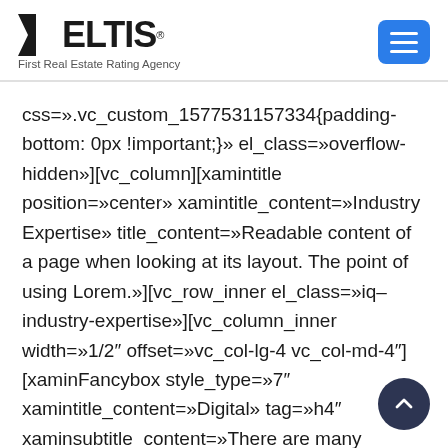VELTIS — First Real Estate Rating Agency
css=».vc_custom_1577531157334{padding-bottom: 0px !important;}» el_class=»overflow-hidden»][vc_column][xamintitle position=»center» xamintitle_content=»Industry Expertise» title_content=»Readable content of a page when looking at its layout. The point of using Lorem.»][vc_row_inner el_class=»iq–industry-expertise»][vc_column_inner width=»1/2″ offset=»vc_col-lg-4 vc_col-md-4″][xaminFancybox style_type=»7″ xamintitle_content=»Digital» tag=»h4″ xaminsubtitle_content=»There are many variations of passages of readable content page looking» icon_type=»iq-image» position=»center» image=»3632″]